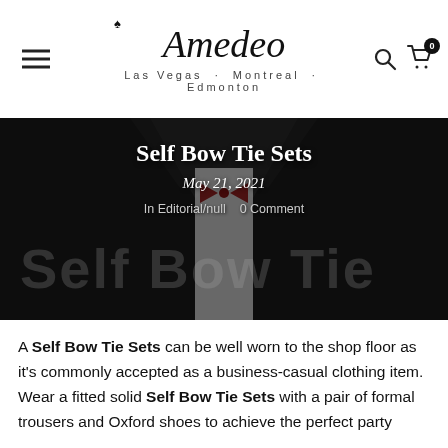[Figure (logo): Amedeo brand logo with script font, heart icon, and tagline 'Las Vegas · Montreal · Edmonton']
[Figure (photo): Hero banner showing a man in a dark suit wearing a red bow tie, with large watermark text 'Self Bow Tie' overlaid. Contains blog post title 'Self Bow Tie Sets', date 'May 21, 2021', and meta 'In Editorial/null  0 Comment']
A Self Bow Tie Sets can be well worn to the shop floor as it's commonly accepted as a business-casual clothing item. Wear a fitted solid Self Bow Tie Sets with a pair of formal trousers and Oxford shoes to achieve the perfect party